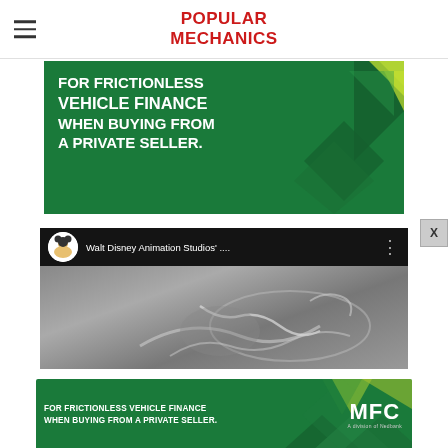POPULAR MECHANICS
[Figure (illustration): Green advertisement banner reading 'FOR FRICTIONLESS VEHICLE FINANCE WHEN BUYING FROM A PRIVATE SELLER.' with diamond decorations on the right]
[Figure (screenshot): YouTube video embed showing Walt Disney Animation Studios video with channel avatar and title bar, grayscale animation thumbnail]
[Figure (illustration): Smaller green MFC advertisement banner reading 'FOR FRICTIONLESS VEHICLE FINANCE WHEN BUYING FROM A PRIVATE SELLER.' with MFC logo on right]